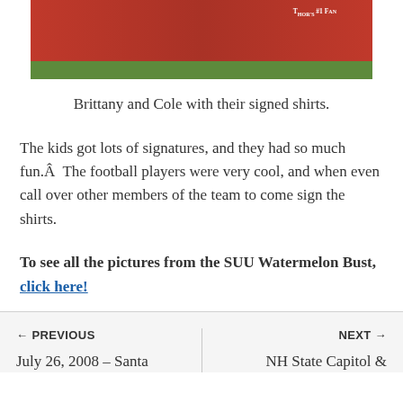[Figure (photo): Photo of two children (Brittany and Cole) wearing red shirts with signatures, standing on grass]
Brittany and Cole with their signed shirts.
The kids got lots of signatures, and they had so much fun.Â  The football players were very cool, and when even call over other members of the team to come sign the shirts.
To see all the pictures from the SUU Watermelon Bust, click here!
← PREVIOUS | July 26, 2008 – Santa | NEXT → | NH State Capitol &
July 26, 2008 – Santa
NH State Capitol &